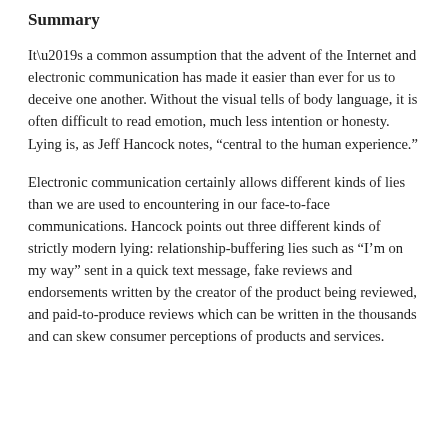Summary
It’s a common assumption that the advent of the Internet and electronic communication has made it easier than ever for us to deceive one another. Without the visual tells of body language, it is often difficult to read emotion, much less intention or honesty. Lying is, as Jeff Hancock notes, “central to the human experience.”
Electronic communication certainly allows different kinds of lies than we are used to encountering in our face-to-face communications. Hancock points out three different kinds of strictly modern lying: relationship-buffering lies such as “I’m on my way” sent in a quick text message, fake reviews and endorsements written by the creator of the product being reviewed, and paid-to-produce reviews which can be written in the thousands and can skew consumer perceptions of products and services.